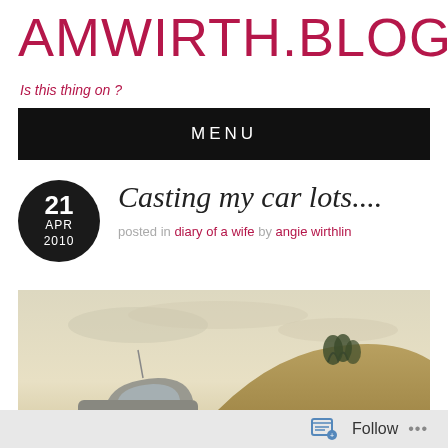AMWIRTH.BLOG
Is this thing on ?
MENU
21
APR
2010
Casting my car lots....
posted in diary of a wife by angie wirthlin
[Figure (photo): A vintage-style sepia-toned photo of a car on a hillside road with golden grass and trees in the background and a pale sky above.]
Follow ...